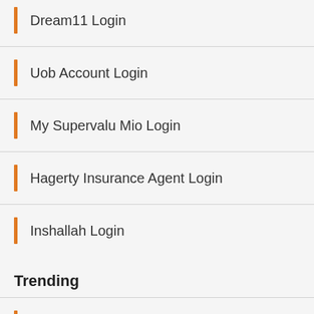Dream11 Login
Uob Account Login
My Supervalu Mio Login
Hagerty Insurance Agent Login
Inshallah Login
Trending
Jcp Jtime Login
Csx Apps Login
Alacrity Services Login
Michaels Employee Schedule Login